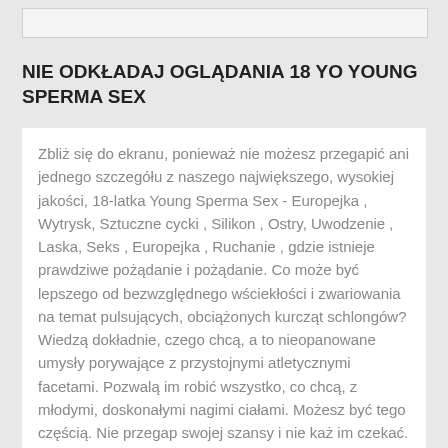NIE ODKŁADAJ OGLĄDANIA 18 YO YOUNG SPERMA SEX
Zbliż się do ekranu, ponieważ nie możesz przegapić ani jednego szczegółu z naszego największego, wysokiej jakości, 18-latka Young Sperma Sex - Europejka , Wytrysk, Sztuczne cycki , Silikon , Ostry, Uwodzenie , Laska, Seks , Europejka , Ruchanie , gdzie istnieje prawdziwe pożądanie i pożądanie. Co może być lepszego od bezwzględnego wściekłości i zwariowania na temat pulsujących, obciążonych kurcząt schlongów? Wiedzą dokładnie, czego chcą, a to nieopanowane umysły porywające z przystojnymi atletycznymi facetami. Pozwalą im robić wszystko, co chcą, z młodymi, doskonałymi nagimi ciałami. Możesz być tego częścią. Nie przegap swojej szansy i nie każ im czekać.